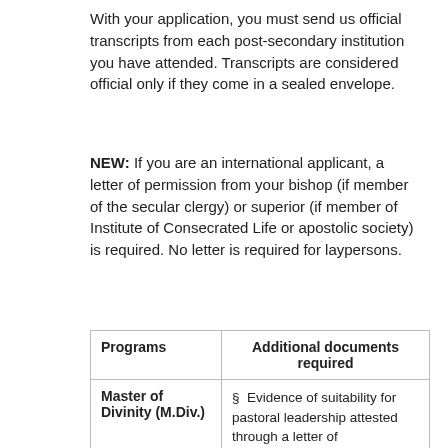With your application, you must send us official transcripts from each post-secondary institution you have attended. Transcripts are considered official only if they come in a sealed envelope.
NEW: If you are an international applicant, a letter of permission from your bishop (if member of the secular clergy) or superior (if member of Institute of Consecrated Life or apostolic society) is required. No letter is required for laypersons.
| Programs | Additional documents required |
| --- | --- |
| Master of Divinity (M.Div.) | §  Evidence of suitability for pastoral leadership attested through a letter of recommendation and pre-admission interview;

§  Evidence of ability to succeed in a… |